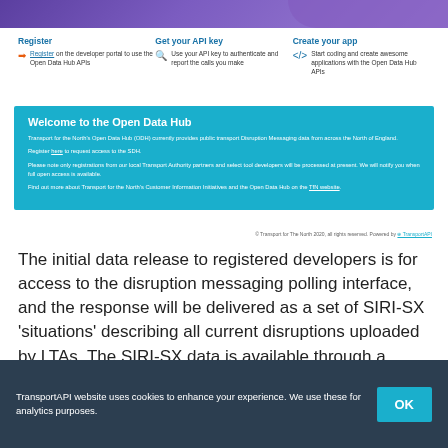[Figure (screenshot): Top purple banner with map graphic of northern England]
Register
Register on the developer portal to use the Open Data Hub APIs
Get your API key
Use your API key to authenticate and report the calls you make
Create your app
Start coding and create awesome applications with the Open Data Hub APIs
Welcome to the Open Data Hub
Transport for the North's Open Data Hub (ODH) currently provides public transport Disruption Messaging data from across the North of England.
Register here to request access to the SDH.
Please note only registrations from our local Transport Authority partners and select tool developers will be processed at present. We will notify you when full open access is available.
Find out more about Transport for the North's Customer Information Initiatives and the Open Data Hub on the TfN website.
© Transport for The North 2020, all rights reserved. Powered by TransportAPI
The initial data release to registered developers is for access to the disruption messaging polling interface, and the response will be delivered as a set of SIRI-SX 'situations' describing all current disruptions uploaded by LTAs. The SIRI-SX data is available through a HTTP POST to...
TransportAPI website uses cookies to enhance your experience. We use these for analytics purposes.